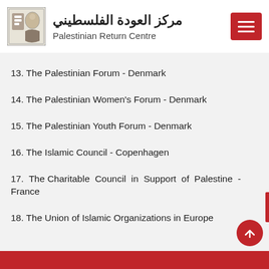مركز العودة الفلسطيني / Palestinian Return Centre
13. The Palestinian Forum - Denmark
14. The Palestinian Women's Forum - Denmark
15. The Palestinian Youth Forum - Denmark
16. The Islamic Council - Copenhagen
17. The Charitable Council in Support of Palestine - France
18. The Union of Islamic Organizations in Europe